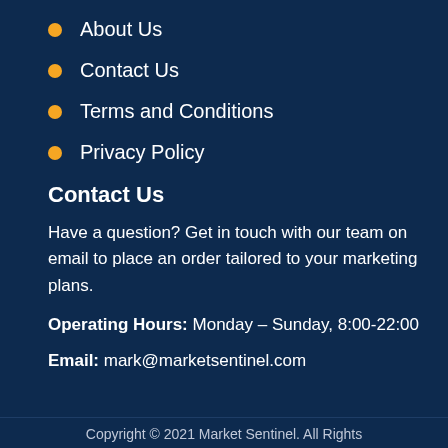About Us
Contact Us
Terms and Conditions
Privacy Policy
Contact Us
Have a question? Get in touch with our team on email to place an order tailored to your marketing plans.
Operating Hours: Monday – Sunday, 8:00-22:00
Email: mark@marketsentinel.com
Copyright © 2021 Market Sentinel. All Rights